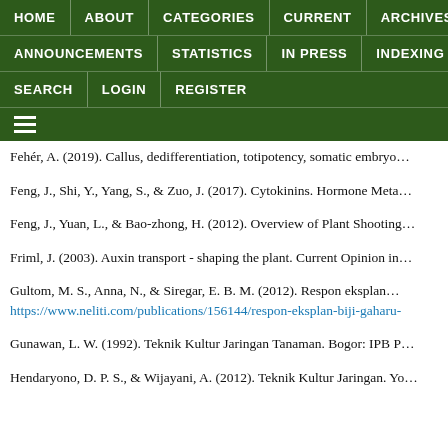HOME | ABOUT | CATEGORIES | CURRENT | ARCHIVES | ANNOUNCEMENTS | STATISTICS | IN PRESS | INDEXING | SEARCH | LOGIN | REGISTER
Fehér, A. (2019). Callus, dedifferentiation, totipotency, somatic embryo…
Feng, J., Shi, Y., Yang, S., & Zuo, J. (2017). Cytokinins. Hormone Meta…
Feng, J., Yuan, L., & Bao-zhong, H. (2012). Overview of Plant Shooting…
Friml, J. (2003). Auxin transport - shaping the plant. Current Opinion in…
Gultom, M. S., Anna, N., & Siregar, E. B. M. (2012). Respon eksplan… https://www.neliti.com/publications/156144/respon-eksplan-biji-gaharu-
Gunawan, L. W. (1992). Teknik Kultur Jaringan Tanaman. Bogor: IPB P…
Hendaryono, D. P. S., & Wijayani, A. (2012). Teknik Kultur Jaringan. Yo…